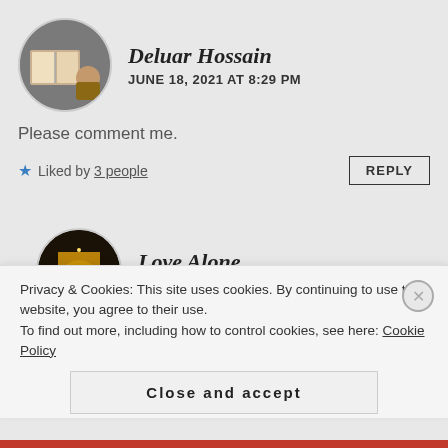[Figure (photo): Circular avatar photo showing a person reading a book, religious context]
Deluar Hossain
JUNE 18, 2021 AT 8:29 PM
Please comment me.
★ Liked by 3 people
REPLY
[Figure (photo): Circular avatar photo showing an illuminated gate/arch monument at night]
Love Alone
JUNE 18, 2021 AT 10:13 PM
Reblogged this on Love & Love Alone.
Privacy & Cookies: This site uses cookies. By continuing to use this website, you agree to their use.
To find out more, including how to control cookies, see here: Cookie Policy
Close and accept